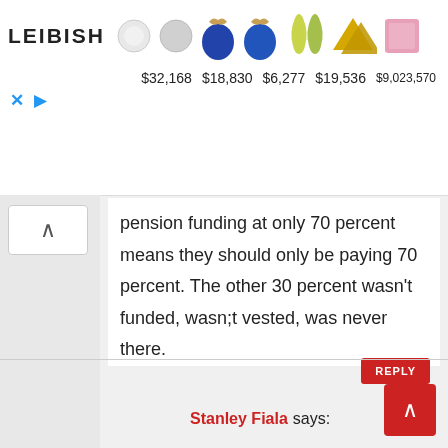[Figure (screenshot): Leibish jewelry advertisement banner showing diamond and colored gemstone earrings with prices: $32,168, $18,830, $6,277, $19,536, $9,023,570]
pension funding at only 70 percent means they should only be paying 70 percent. The other 30 percent wasn't funded, wasn;t vested, was never there.
REPLY
Stanley Fiala says: